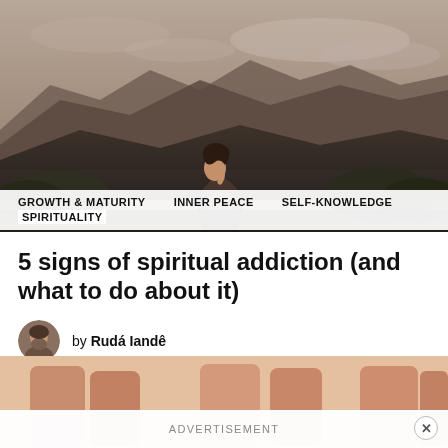[Figure (photo): A woman standing outdoors looking upward with a mountainous landscape in the background, in moody warm tones]
GROWTH & MATURITY   INNER PEACE   SELF-KNOWLEDGE   SPIRITUALITY
5 signs of spiritual addiction (and what to do about it)
by Rudá Iandê
[Figure (photo): Bottom cropped photo showing people from behind in warm tones]
ADVERTISEMENT